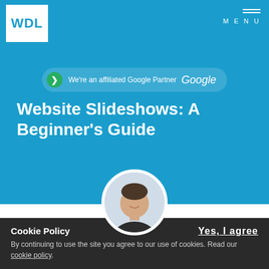WDL | MENU
We're an affiliated Google Partner Google
Website Slideshows: A Beginner's Guide
[Figure (photo): Circular avatar photo of a man smiling]
1st December 2014, By Richard | Design
[Figure (other): Social share icons: Facebook, Twitter, Google+, LinkedIn]
Cookie Policy
Yes, I agree
By continuing to use the site you agree to our use of cookies. Read our cookie policy.